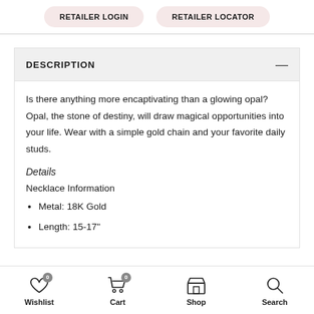RETAILER LOGIN | RETAILER LOCATOR
DESCRIPTION
Is there anything more encaptivating than a glowing opal? Opal, the stone of destiny, will draw magical opportunities into your life. Wear with a simple gold chain and your favorite daily studs.
Details
Necklace Information
Metal: 18K Gold
Length: 15-17"
Wishlist 0 | Cart 0 | Shop | Search